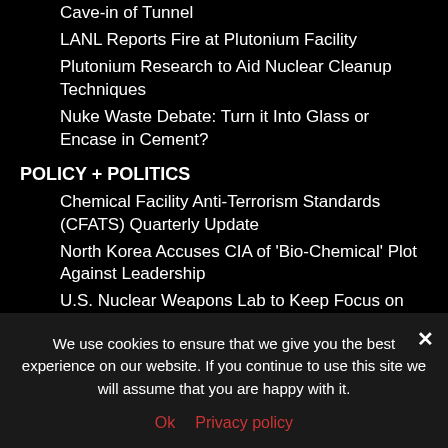Cave-in of Tunnel
LANL Reports Fire at Plutonium Facility
Plutonium Research to Aid Nuclear Cleanup Techniques
Nuke Waste Debate: Turn it Into Glass or Encase in Cement?
POLICY + POLITICS
Chemical Facility Anti-Terrorism Standards (CFATS) Quarterly Update
North Korea Accuses CIA of 'Bio-Chemical' Plot Against Leadership
U.S. Nuclear Weapons Lab to Keep Focus on National Security
U.S. Sanctions Chemists for Gas Attack on
We use cookies to ensure that we give you the best experience on our website. If you continue to use this site we will assume that you are happy with it.
Ok   Privacy policy